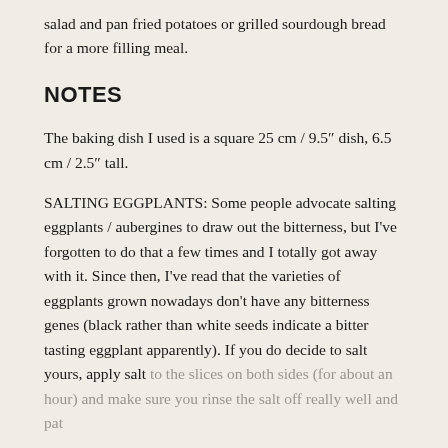salad and pan fried potatoes or grilled sourdough bread for a more filling meal.
NOTES
The baking dish I used is a square 25 cm / 9.5″ dish, 6.5 cm / 2.5″ tall.
SALTING EGGPLANTS: Some people advocate salting eggplants / aubergines to draw out the bitterness, but I've forgotten to do that a few times and I totally got away with it. Since then, I've read that the varieties of eggplants grown nowadays don't have any bitterness genes (black rather than white seeds indicate a bitter tasting eggplant apparently). If you do decide to salt yours, apply salt to the slices on both sides (for about an hour) and make sure you rinse the salt off really well and pat